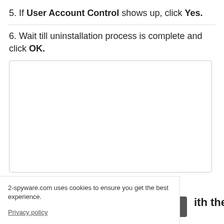5. If User Account Control shows up, click Yes.
6. Wait till uninstallation process is complete and click OK.
[Figure (screenshot): Screenshot box showing uninstallation completion dialog]
2-spyware.com uses cookies to ensure you get the best experience.
Privacy policy
ith the